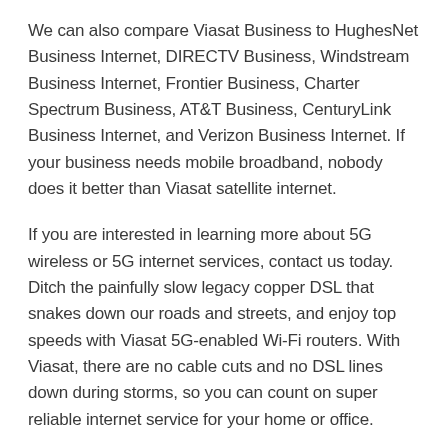We can also compare Viasat Business to HughesNet Business Internet, DIRECTV Business, Windstream Business Internet, Frontier Business, Charter Spectrum Business, AT&T Business, CenturyLink Business Internet, and Verizon Business Internet. If your business needs mobile broadband, nobody does it better than Viasat satellite internet.
If you are interested in learning more about 5G wireless or 5G internet services, contact us today. Ditch the painfully slow legacy copper DSL that snakes down our roads and streets, and enjoy top speeds with Viasat 5G-enabled Wi-Fi routers. With Viasat, there are no cable cuts and no DSL lines down during storms, so you can count on super reliable internet service for your home or office.
Viasat Delivers Internet Service in Delmar, DE